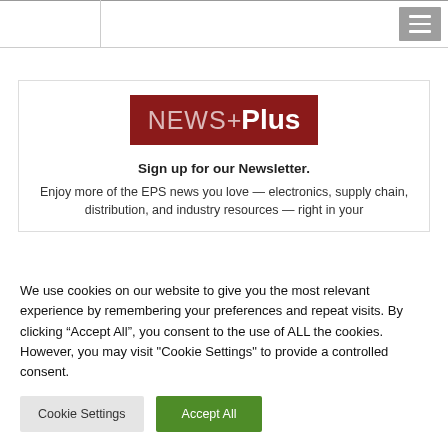[Figure (screenshot): Top navigation bar with horizontal rule lines and hamburger menu button (gray square with three white lines) in top right corner]
[Figure (logo): NEWS+Plus logo: dark red/maroon rectangle with white text reading NEWS+Plus]
Sign up for our Newsletter.
Enjoy more of the EPS news you love — electronics, supply chain, distribution, and industry resources — right in your
We use cookies on our website to give you the most relevant experience by remembering your preferences and repeat visits. By clicking "Accept All", you consent to the use of ALL the cookies. However, you may visit "Cookie Settings" to provide a controlled consent.
Cookie Settings
Accept All